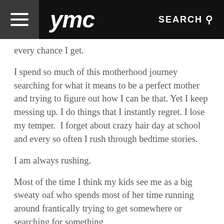ymc  SEARCH
every chance I get.
I spend so much of this motherhood journey searching for what it means to be a perfect mother and trying to figure out how I can be that. Yet I keep messing up. I do things that I instantly regret. I lose my temper.  I forget about crazy hair day at school and every so often I rush through bedtime stories.
I am always rushing.
Most of the time I think my kids see me as a big sweaty oaf who spends most of her time running around frantically trying to get somewhere or searching for something.
Sometimes I just feel as though I am failing at this motherhood thing. Failing hard.
In that moment I was hit with the realization that my kids